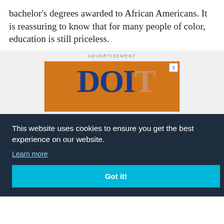bachelor's degrees awarded to African Americans. It is reassuring to know that for many people of color, education is still priceless.
[Figure (other): Advertisement banner showing 'DOIT' text in blue serif font on an orange background with a close button (X) in the top right corner.]
This website uses cookies to ensure you get the best experience on our website.
Learn more
Got it!